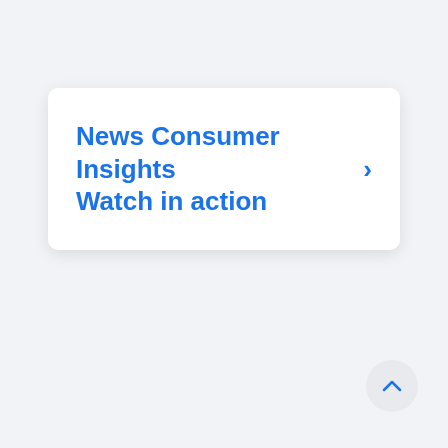News Consumer Insights Watch in action
[Figure (other): Back to top button — circular light grey button with a blue upward chevron arrow]